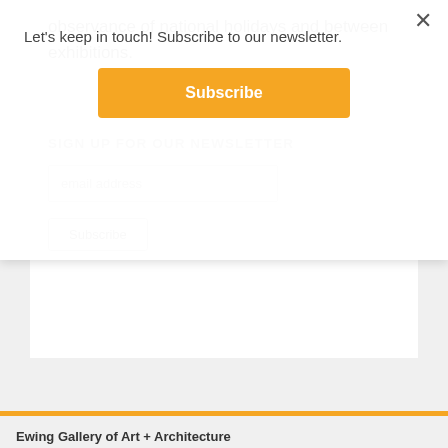Let's keep in touch! Subscribe to our newsletter.
Subscribe
observance of national holidays and between exhibitions.
SIGN UP FOR OUR NEWSLETTER
email address
Subscribe
Ewing Gallery of Art + Architecture